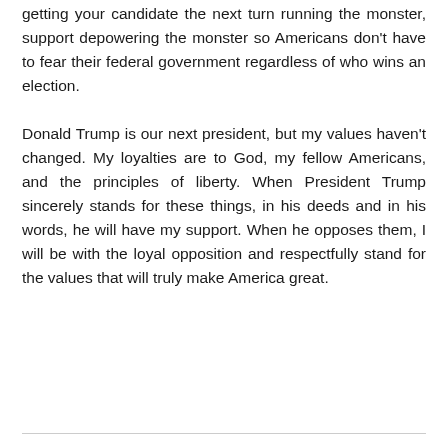getting your candidate the next turn running the monster, support depowering the monster so Americans don't have to fear their federal government regardless of who wins an election.
Donald Trump is our next president, but my values haven't changed. My loyalties are to God, my fellow Americans, and the principles of liberty. When President Trump sincerely stands for these things, in his deeds and in his words, he will have my support. When he opposes them, I will be with the loyal opposition and respectfully stand for the values that will truly make America great.